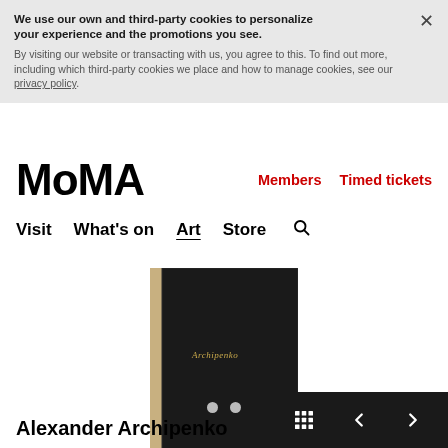We use our own and third-party cookies to personalize your experience and the promotions you see. By visiting our website or transacting with us, you agree to this. To find out more, including which third-party cookies we place and how to manage cookies, see our privacy policy.
MoMA   Members   Timed tickets
Visit   What's on   Art   Store
[Figure (photo): A dark book cover with cursive gold text, slight tan/beige spine visible on the left. Book appears to be a monograph or catalogue.]
Alexander Archipenko